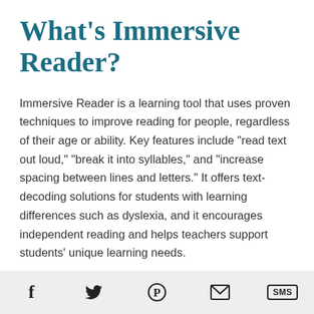What's Immersive Reader?
Immersive Reader is a learning tool that uses proven techniques to improve reading for people, regardless of their age or ability. Key features include "read text out loud," "break it into syllables," and "increase spacing between lines and letters." It offers text-decoding solutions for students with learning differences such as dyslexia, and it encourages independent reading and helps teachers support students' unique learning needs.
f  [twitter]  [pinterest]  [email]  SMS